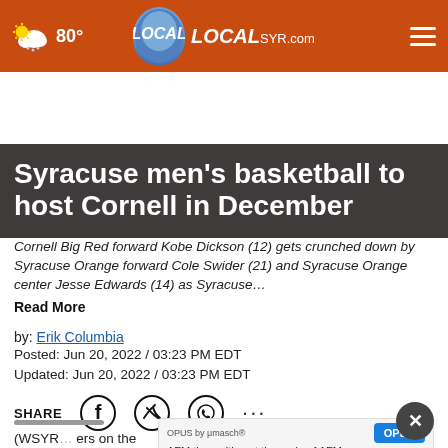LOCAL SYR.com — 80°
Syracuse men's basketball to host Cornell in December
Cornell Big Red forward Kobe Dickson (12) gets crunched down by Syracuse Orange forward Cole Swider (21) and Syracuse Orange center Jesse Edwards (14) as Syracuse… Read More
by: Erik Columbia
Posted: Jun 20, 2022 / 03:23 PM EDT
Updated: Jun 20, 2022 / 03:23 PM EDT
SHARE
(WSYR… ers on the hardwood, as the Big Red are the second most…